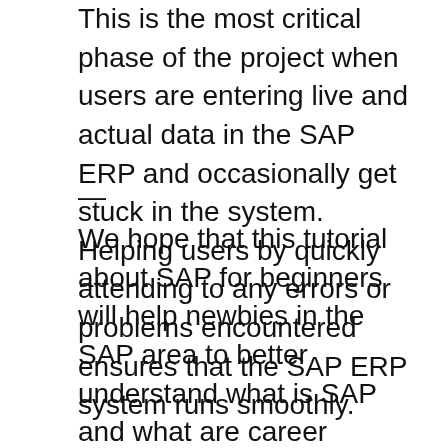This is the most critical phase of the project when users are entering live and actual data in the SAP ERP and occasionally get stuck in the system. Helping users by quickly attending to any errors or problems encountered ensures that the SAP ERP system runs smoothly.
—
We hope that this tutorial about SAP for beginners will help newbies in the SAP area to better understand what is SAP and what are career opportunities associated with it. Besides providing the valuable insights, this SAP for beginners tutorial also contains numerous links to other resources that you might find highly useful.